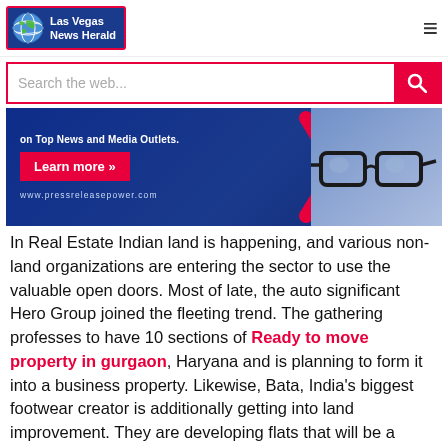[Figure (logo): Las Vegas News Herald logo with globe icon on blue background with red border]
[Figure (screenshot): Search bar with 'Search the web...' placeholder and red search button with magnifying glass icon]
[Figure (photo): Advertisement banner for pressreleasepower.com on blue background with red Learn more button, chevron arrows, and glasses photo]
In Real Estate Indian land is happening, and various non-land organizations are entering the sector to use the valuable open doors. Most of late, the auto significant Hero Group joined the fleeting trend. The gathering professes to have 10 sections of Ready to move property in gurgaon, Haryana and is planning to form it into a business property. Likewise, Bata, India's biggest footwear creator is additionally getting into land improvement. They are developing flats that will be a piece of the Calcutta Riverside Project. The gathering claims that the township